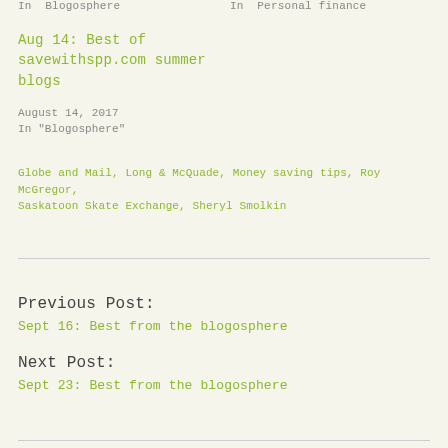In  Blogosphere
In  Personal finance
Aug 14: Best of savewithspp.com summer blogs
August 14, 2017
In "Blogosphere"
Globe and Mail, Long & McQuade, Money saving tips, Roy McGregor, Saskatoon Skate Exchange, Sheryl Smolkin
Previous Post:
Sept 16: Best from the blogosphere
Next Post:
Sept 23: Best from the blogosphere